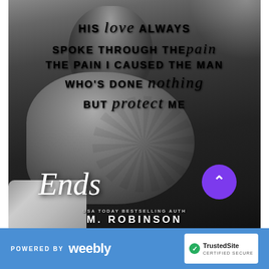[Figure (photo): Black and white photograph of a couple in an intimate embrace, with a man leaning over a woman. Overlaid with white text quote. Book promotional image for 'Ends' by M. Robinson.]
HIS love ALWAYS SPOKE THROUGH THE pain THE PAIN I CAUSED THE MAN WHO'S DONE nothing BUT protect ME
Ends
USA TODAY BESTSELLING AUTHOR M. ROBINSON
POWERED BY weebly   TrustedSite CERTIFIED SECURE